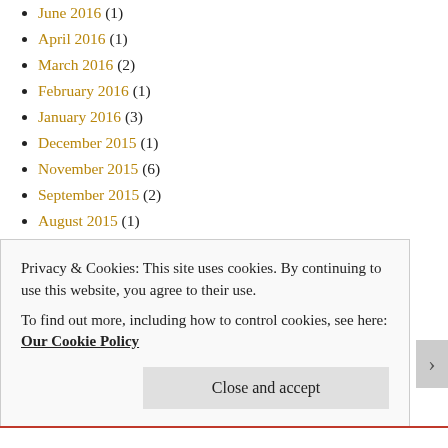June 2016 (1)
April 2016 (1)
March 2016 (2)
February 2016 (1)
January 2016 (3)
December 2015 (1)
November 2015 (6)
September 2015 (2)
August 2015 (1)
July 2015 (2)
March 2015 (1)
February 2015 (2)
January 2015 (1)
December 2014 (3)
November 2014 (1)
September 2014 (2)
August 2014 (1)
Privacy & Cookies: This site uses cookies. By continuing to use this website, you agree to their use. To find out more, including how to control cookies, see here: Our Cookie Policy